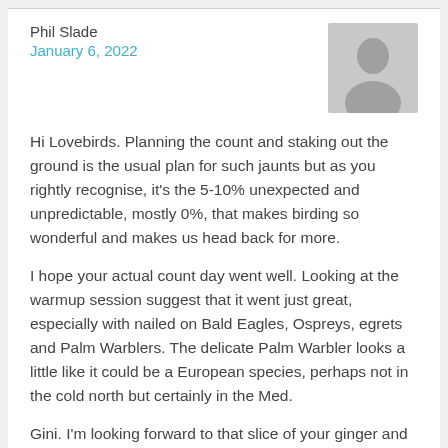Phil Slade
January 6, 2022
[Figure (illustration): Generic grey silhouette avatar placeholder image]
Hi Lovebirds. Planning the count and staking out the ground is the usual plan for such jaunts but as you rightly recognise, it's the 5-10% unexpected and unpredictable, mostly 0%, that makes birding so wonderful and makes us head back for more.
I hope your actual count day went well. Looking at the warmup session suggest that it went just great, especially with nailed on Bald Eagles, Ospreys, egrets and Palm Warblers. The delicate Palm Warbler looks a little like it could be a European species, perhaps not in the cold north but certainly in the Med.
Gini. I'm looking forward to that slice of your ginger and pumpkin bread while hoping it more resembles a gooey